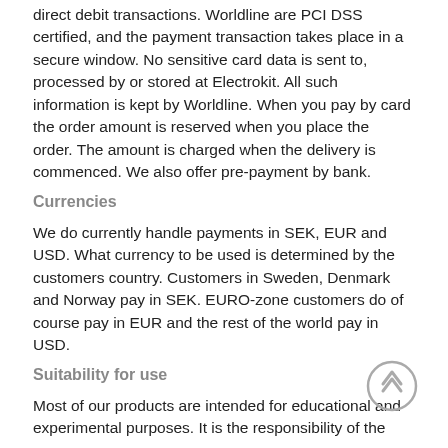direct debit transactions. Worldline are PCI DSS certified, and the payment transaction takes place in a secure window. No sensitive card data is sent to, processed by or stored at Electrokit. All such information is kept by Worldline. When you pay by card the order amount is reserved when you place the order. The amount is charged when the delivery is commenced. We also offer pre-payment by bank.
Currencies
We do currently handle payments in SEK, EUR and USD. What currency to be used is determined by the customers country. Customers in Sweden, Denmark and Norway pay in SEK. EURO-zone customers do of course pay in EUR and the rest of the world pay in USD.
Suitability for use
Most of our products are intended for educational and experimental purposes. It is the responsibility of the